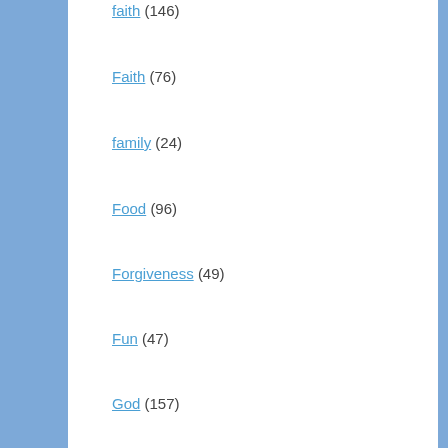faith (146)
Faith (76)
family (24)
Food (96)
Forgiveness (49)
Fun (47)
God (157)
God (71)
grace (35)
Grief (16)
Holidays (64)
Holy Spirit (117)
Jane Austen Fans (2)
Jesus (24)
Keto Friendly (126)
Laughter (29)